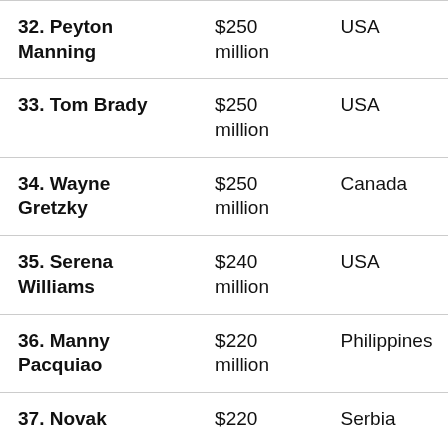| Name | Earnings | Country |
| --- | --- | --- |
| 32. Peyton Manning | $250 million | USA |
| 33. Tom Brady | $250 million | USA |
| 34. Wayne Gretzky | $250 million | Canada |
| 35. Serena Williams | $240 million | USA |
| 36. Manny Pacquiao | $220 million | Philippines |
| 37. Novak | $220 | Serbia |